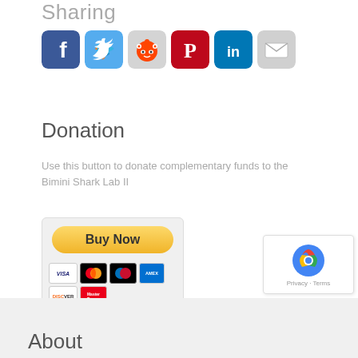Sharing
[Figure (other): Row of social sharing icons: Facebook, Twitter, Reddit, Pinterest, LinkedIn, Email]
Donation
Use this button to donate complementary funds to the Bimini Shark Lab II
[Figure (other): PayPal Buy Now button with payment card icons: VISA, Mastercard, Maestro, American Express, Discover, MasterPass]
[Figure (other): reCAPTCHA widget with Privacy and Terms links]
About